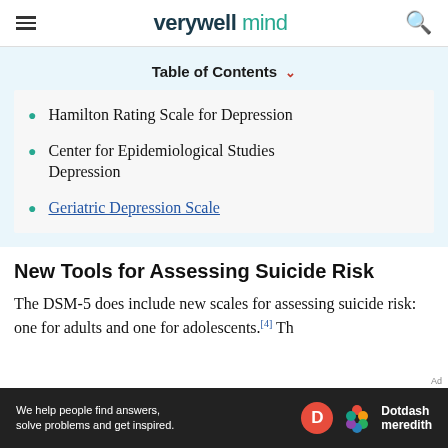verywell mind
Table of Contents
Hamilton Rating Scale for Depression
Center for Epidemiological Studies Depression
Geriatric Depression Scale
New Tools for Assessing Suicide Risk
The DSM-5 does include new scales for assessing suicide risk: one for adults and one for adolescents. [4] Th...
Ad — We help people find answers, solve problems and get inspired. Dotdash meredith